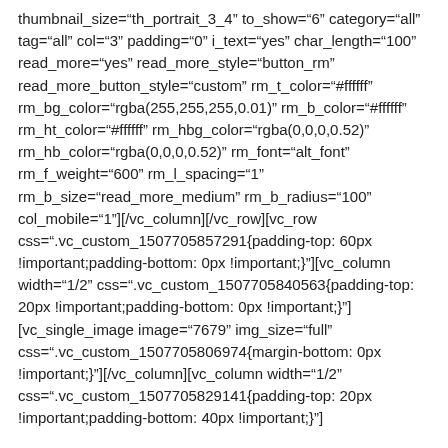thumbnail_size="th_portrait_3_4" to_show="6" category="all" tag="all" col="3" padding="0" i_text="yes" char_length="100" read_more="yes" read_more_style="button_rm" read_more_button_style="custom" rm_t_color="#ffffff" rm_bg_color="rgba(255,255,255,0.01)" rm_b_color="#ffffff" rm_ht_color="#ffffff" rm_hbg_color="rgba(0,0,0,0.52)" rm_hb_color="rgba(0,0,0,0.52)" rm_font="alt_font" rm_f_weight="600" rm_l_spacing="1" rm_b_size="read_more_medium" rm_b_radius="100" col_mobile="1"][/vc_column][/vc_row][vc_row css=".vc_custom_1507705857291{padding-top: 60px !important;padding-bottom: 0px !important;}"][vc_column width="1/2" css=".vc_custom_1507705840563{padding-top: 20px !important;padding-bottom: 0px !important;"]
[vc_single_image image="7679" img_size="full" css=".vc_custom_1507705806974{margin-bottom: 0px !important;}"][/vc_column][vc_column width="1/2" css=".vc_custom_1507705829141{padding-top: 20px !important;padding-bottom: 40px !important;}"]